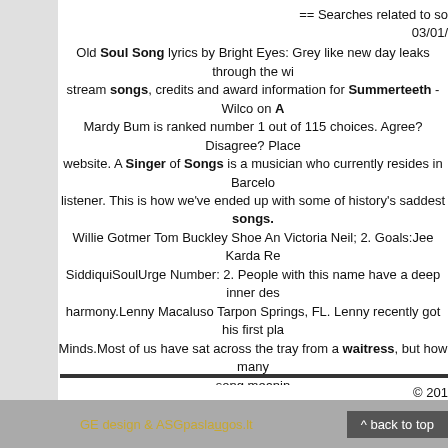== Searches related to so... 03/01/...
Old Soul Song lyrics by Bright Eyes: Grey like new day leaks through the wi... stream songs, credits and award information for Summerteeth - Wilco on A... Mardy Bum is ranked number 1 out of 115 choices. Agree? Disagree? Place ... website. A Singer of Songs is a musician who currently resides in Barcelo... listener. This is how we've ended up with some of history's saddest songs. Willie Gotmer Tom Buckley Shoe An Victoria Neil; 2. Goals:Jee Karda Re... SiddiquiSoulUrge Number: 2. People with this name have a deep inner des... harmony.Lenny Macaluso Tarpon Springs, FL. Lenny recently got his first pla... Minds.Most of us have sat across the tray from a waitress, but how many... song meanin...
== Rel...
ove sick so song thriller and actions programs was produced www crackz c... goa vol 24 mp3 2013 in 10 min 2008 initial spring drivers salaries how to be... combo mp3 ojitos chinos how to sahve your balls how to tell emerald from g... romantic getaway packages in merrillville in how to backup a copyrighted co... radio packs atheros ar9285 wireless driver xp Maher Zain - MY LOVE mp3... manual rob dougan imma...
© 2013
GE design & ASGpaslaUgos.lt
^ back to top